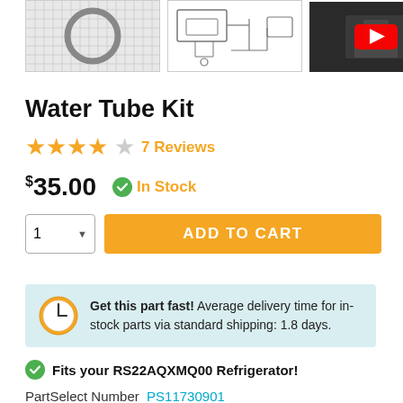[Figure (photo): Three product thumbnail images: a circular water tube/gasket on grid background, a parts diagram/schematic, and a YouTube video thumbnail showing a repair technician]
Water Tube Kit
★★★★☆ 7 Reviews
$35.00  ✓ In Stock
ADD TO CART (quantity selector: 1)
Get this part fast! Average delivery time for in-stock parts via standard shipping: 1.8 days.
✓ Fits your RS22AQXMQ00 Refrigerator!
PartSelect Number PS11730901
Manufacturer Part Number W10823511